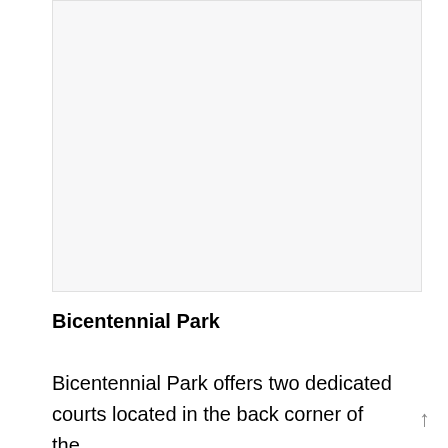[Figure (photo): Large image placeholder area showing a park or outdoor scene (image not visible in this crop)]
Bicentennial Park
Bicentennial Park offers two dedicated courts located in the back corner of the